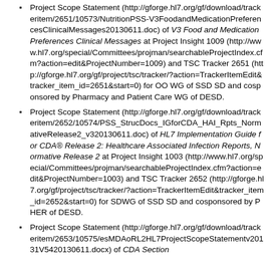Project Scope Statement (http://gforge.hl7.org/gf/download/trackeritem/2651/10573/NutritionPSS-V3FoodandMedicationPreferencesClinicalMessages20130611.doc) of V3 Food and Medication Preferences Clinical Messages at Project Insight 1009 (http://www.hl7.org/special/Committees/projman/searchableProjectIndex.cfm?action=edit&ProjectNumber=1009) and TSC Tracker 2651 (http://gforge.hl7.org/gf/project/tsc/tracker/?action=TrackerItemEdit&tracker_item_id=2651&start=0) for OO WG of SSD SD and cosponsored by Pharmacy and Patient Care WG of DESD.
Project Scope Statement (http://gforge.hl7.org/gf/download/trackeritem/2652/10574/PSS_StrucDocs_IGforCDA_HAI_Rpts_NormativeRelease2_v320130611.doc) of HL7 Implementation Guide for CDA® Release 2: Healthcare Associated Infection Reports, Normative Release 2 at Project Insight 1003 (http://www.hl7.org/special/Committees/projman/searchableProjectIndex.cfm?action=edit&ProjectNumber=1003) and TSC Tracker 2652 (http://gforge.hl7.org/gf/project/tsc/tracker/?action=TrackerItemEdit&tracker_item_id=2652&start=0) for SDWG of SSD SD and cosponsored by PHER of DESD.
Project Scope Statement (http://gforge.hl7.org/gf/download/trackeritem/2653/10575/esMDAoRL2HL7ProjectScopeStatementv20131V5420130611.docx) of CDA Section